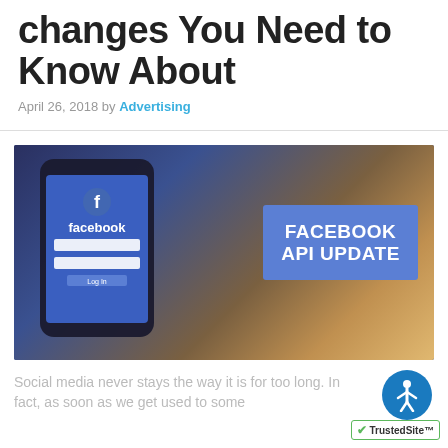changes You Need to Know About
April 26, 2018 by Advertising
[Figure (photo): Hand holding a smartphone displaying the Facebook login screen, with a laptop in the background. A purple banner overlay reads 'FACEBOOK API UPDATE'.]
Social media never stays the way it is for too long. In fact, as soon as we get used to some